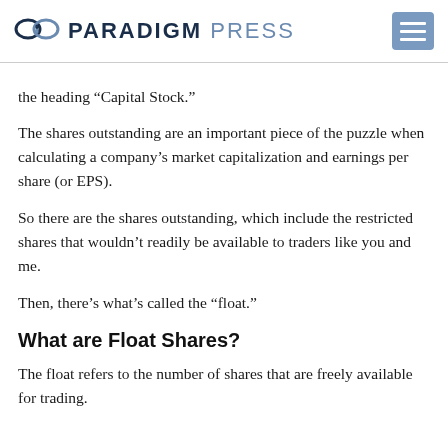PARADIGM PRESS
the heading “Capital Stock.”
The shares outstanding are an important piece of the puzzle when calculating a company’s market capitalization and earnings per share (or EPS).
So there are the shares outstanding, which include the restricted shares that wouldn’t readily be available to traders like you and me.
Then, there’s what’s called the “float.”
What are Float Shares?
The float refers to the number of shares that are freely available for trading.